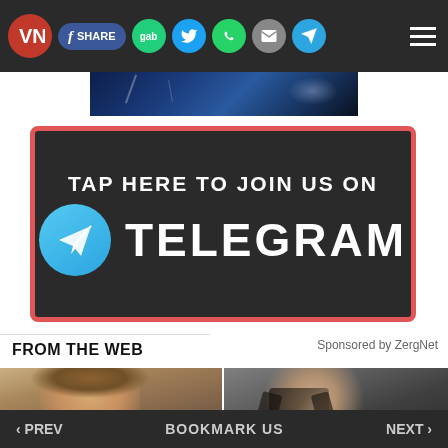VN | Share | gab | Twitter | WhatsApp | Email | Telegram | Menu
[Figure (screenshot): Banner image strip with blue cosmic/lightning background]
[Figure (infographic): Dark banner with red border: TAP HERE TO JOIN US ON TELEGRAM with Telegram logo]
FROM THE WEB
Sponsored by ZergNet
[Figure (photo): Photo of a young boy with brown hair]
[Figure (photo): Photo of a person with dark face paint/makeup in warrior style]
‹ PREV   BOOKMARK US   NEXT ›